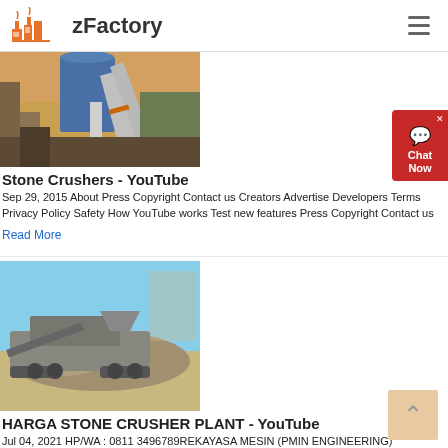zFactory
[Figure (photo): Industrial stone crusher machinery with pipes and silos at a factory]
Stone Crushers - YouTube
Sep 29, 2015  About Press Copyright Contact us Creators Advertise Developers Terms Privacy Policy Safety How YouTube works Test new features Press Copyright Contact us
Read More
[Figure (photo): Mobile stone crusher plant at a quarry site outdoors]
HARGA STONE CRUSHER PLANT - YouTube
Jul 04, 2021  HP/WA : 0811 3496789REKAYASA MESIN (PMIN ENGINEERING)